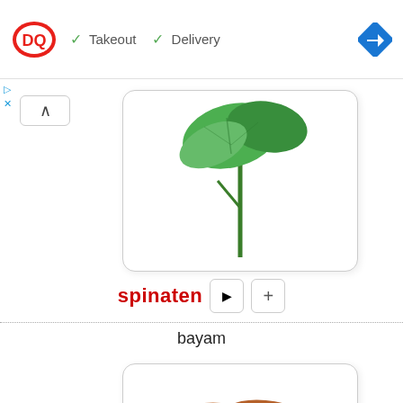[Figure (screenshot): Dairy Queen advertisement banner showing DQ logo, checkmarks for Takeout and Delivery options, and a navigation arrow icon]
[Figure (photo): Spinach leaf photo on white background, partially visible in a rounded card]
spinaten
bayam
[Figure (photo): Sweet potatoes photo showing four reddish-brown sweet potatoes grouped together on white background]